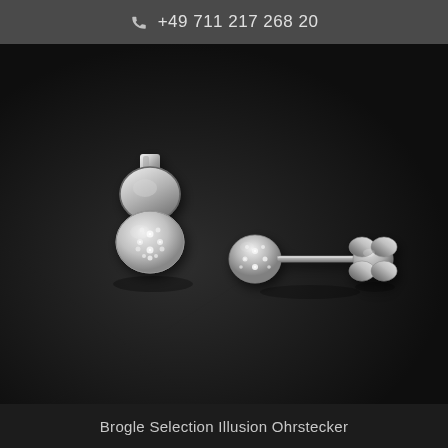+49 711 217 268 20
[Figure (photo): Two silver diamond earrings (Ohrstecker) with pavé-set circular heads on a dark background. One earring is shown from the front-side angle revealing both the top disc and the diamond-encrusted lower disc. The second earring is shown from a side angle on a post with a butterfly backing. Both are white gold/silver colored with multiple small diamonds set in the circular face.]
Brogle Selection Illusion Ohrstecker